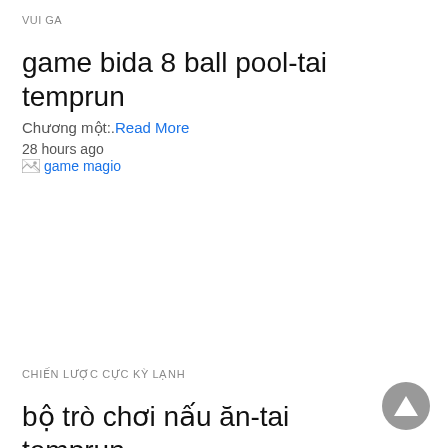VUI GA
game bida 8 ball pool-tai temprun
Chương một:..Read More
28 hours ago
[Figure (illustration): Broken image placeholder labeled 'game magio']
CHIẾN LƯỢC CỰC KỲ LẠNH
bộ trò chơi nấu ăn-tai temprun